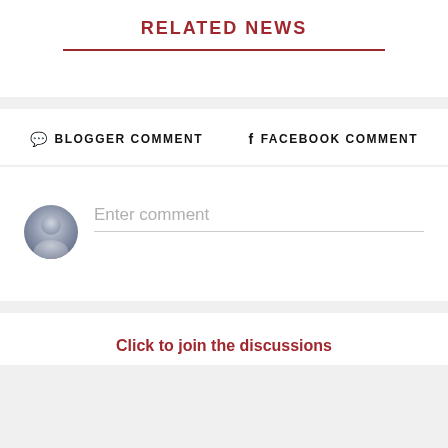RELATED NEWS
💬 BLOGGER COMMENT
f FACEBOOK COMMENT
[Figure (illustration): Generic user avatar circle icon in grey/blue tones with silhouette shape]
Enter comment
Click to join the discussions